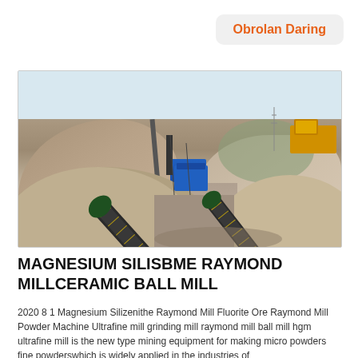Obrolan Daring
[Figure (photo): Mining site with large sand/gravel mounds and industrial conveyor belt equipment and dump truck]
MAGNESIUM SILISBME RAYMOND MILLCERAMIC BALL MILL
2020 8 1 Magnesium Silizenithe Raymond Mill Fluorite Ore Raymond Mill Powder Machine Ultrafine mill grinding mill raymond mill ball mill hgm ultrafine mill is the new type mining equipment for making micro powders fine powderswhich is widely applied in the industries of